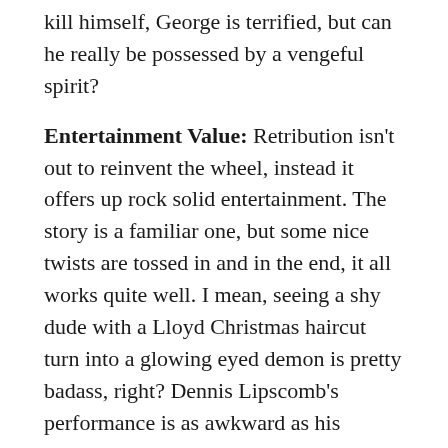kill himself, George is terrified, but can he really be possessed by a vengeful spirit?
Entertainment Value: Retribution isn't out to reinvent the wheel, instead it offers up rock solid entertainment. The story is a familiar one, but some nice twists are tossed in and in the end, it all works quite well. I mean, seeing a shy dude with a Lloyd Christmas haircut turn into a glowing eyed demon is pretty badass, right? Dennis Lipscomb's performance is as awkward as his character should be, with a highlight being a marijuana fueled trip to a neon drenched art gallery. The rest of the cast is fine as well, with everyone taking the material seriously and turning in good work. The film starts off a little slow, but quickly ratchets up the tension and barrels toward a very entertaining second half.